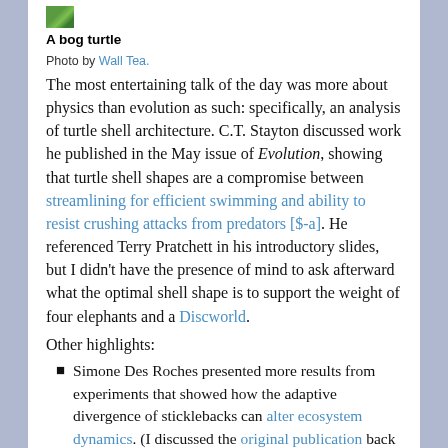[Figure (photo): Small thumbnail image of a bog turtle]
A bog turtle
Photo by Wall Tea.
The most entertaining talk of the day was more about physics than evolution as such: specifically, an analysis of turtle shell architecture. C.T. Stayton discussed work he published in the May issue of Evolution, showing that turtle shell shapes are a compromise between streamlining for efficient swimming and ability to resist crushing attacks from predators [$-a]. He referenced Terry Pratchett in his introductory slides, but I didn't have the presence of mind to ask afterward what the optimal shell shape is to support the weight of four elephants and a Discworld.
Other highlights:
Simone Des Roches presented more results from experiments that showed how the adaptive divergence of sticklebacks can alter ecosystem dynamics. (I discussed the original publication back in April.)